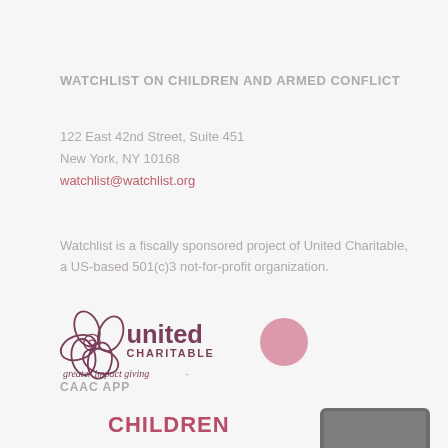WATCHLIST ON CHILDREN AND ARMED CONFLICT
122 East 42nd Street, Suite 451
New York, NY 10168
watchlist@watchlist.org
Watchlist is a fiscally sponsored project of United Charitable, a US-based 501(c)3 not-for-profit organization.
[Figure (logo): United Charitable - greater impact giving logo with decorative flower/leaf emblem]
CAAC APP
CHILDREN
[Figure (photo): Partial view of a smartphone/mobile device]